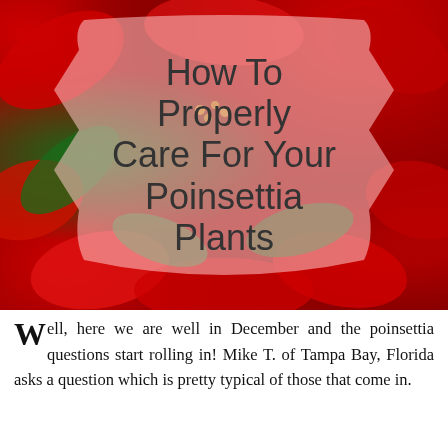[Figure (photo): Photograph of red poinsettia plants with green leaves filling the background, with a semi-transparent decorative shield/banner shape overlay containing the title text 'How To Properly Care For Your Poinsettia Plants' in dark gray on a light pink translucent background.]
Well, here we are well in December and the poinsettia questions start rolling in! Mike T. of Tampa Bay, Florida asks a question which is pretty typical of those that come in.